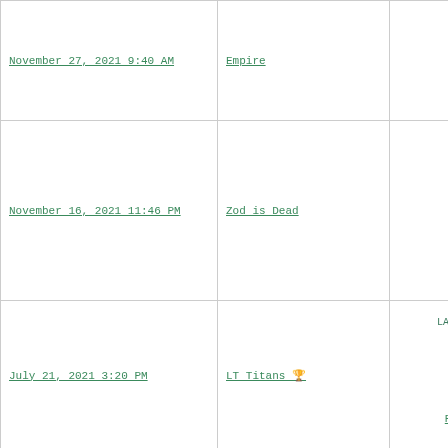| Date | League | Players/Info |
| --- | --- | --- |
| November 27, 2021 9:40 AM | Empire | CHW O...
Spence
TEX SP |
| November 16, 2021 11:46 PM | Zod is Dead | Land...
CHW SP
Mitch
MIN C |
| July 21, 2021 3:20 PM | LT Titans 🏆 | Gav...
LAD 2B/SS
$4...
Mike
LAA OF
Patric...
WSN SP
Richard...
NYY AA |